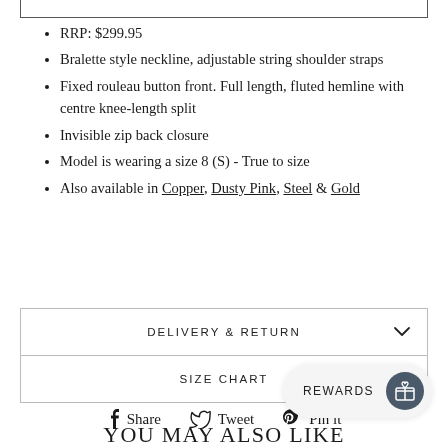RRP: $299.95
Bralette style neckline, adjustable string shoulder straps
Fixed rouleau button front. Full length, fluted hemline with centre knee-length split
Invisible zip back closure
Model is wearing a size 8 (S) - True to size
Also available in Copper, Dusty Pink, Steel & Gold
DELIVERY & RETURN
SIZE CHART
Share  Tweet  Pin it
REWARDS
YOU MAY ALSO LIKE